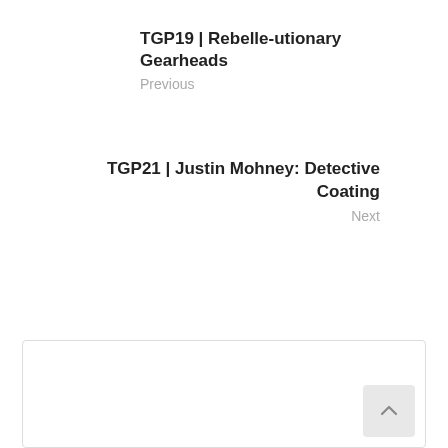TGP19 | Rebelle-utionary Gearheads
Previous
TGP21 | Justin Mohney: Detective Coating
Next